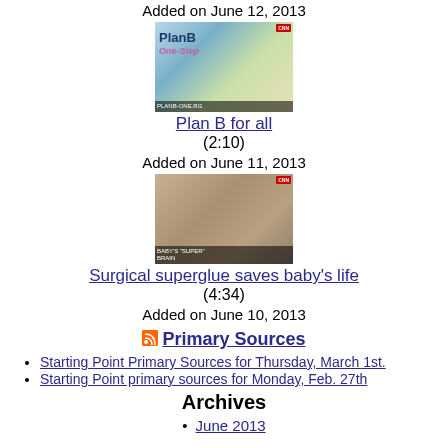Added on June 12, 2013
[Figure (photo): Thumbnail image of Plan B One-Step packaging shown on a news broadcast]
Plan B for all
(2:10)
Added on June 11, 2013
[Figure (photo): Thumbnail image of a baby in medical setting shown on a news broadcast]
Surgical superglue saves baby's life
(4:34)
Added on June 10, 2013
Primary Sources
Starting Point Primary Sources for Thursday, March 1st.
Starting Point primary sources for Monday, Feb. 27th
Archives
June 2013